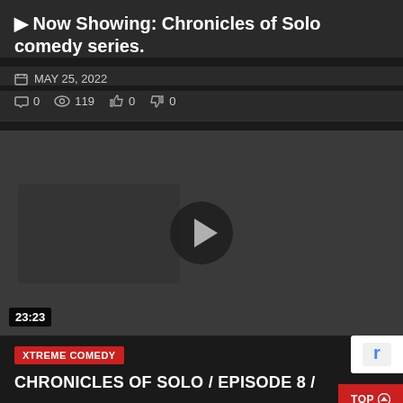▶ Now Showing: Chronicles of Solo comedy series.
📅 MAY 25, 2022
💬 0   👁 119   👍 0   👎 0
[Figure (screenshot): Video player thumbnail showing a dark grey still image with a circular play button in the center. A timestamp '23:23' is shown in the bottom left corner.]
XTREME COMEDY
CHRONICLES OF SOLO / EPISODE 8 /